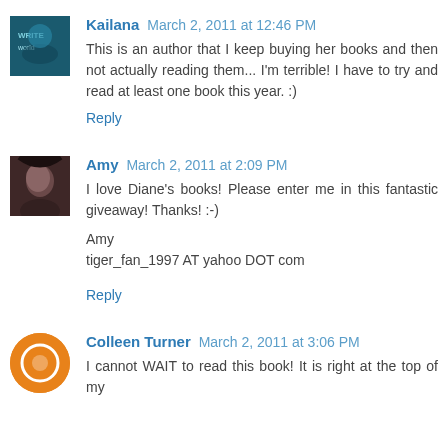Kailana March 2, 2011 at 12:46 PM
This is an author that I keep buying her books and then not actually reading them... I'm terrible! I have to try and read at least one book this year. :)
Reply
Amy March 2, 2011 at 2:09 PM
I love Diane's books! Please enter me in this fantastic giveaway! Thanks! :-)

Amy
tiger_fan_1997 AT yahoo DOT com
Reply
Colleen Turner March 2, 2011 at 3:06 PM
I cannot WAIT to read this book! It is right at the top of my